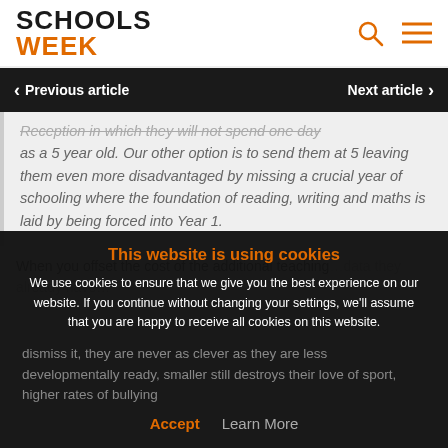SCHOOLS WEEK
Previous article | Next article
Reception in which they will not spend one day as a 5 year old. Our other option is to send them at 5 leaving them even more disadvantaged by missing a crucial year of schooling where the foundation of reading, writing and maths is laid by being forced into Year 1.
When you offset the cost of the additional teaching...
This website is using cookies
We use cookies to ensure that we give you the best experience on our website. If you continue without changing your settings, we'll assume that you are happy to receive all cookies on this website.
Accept | Learn More